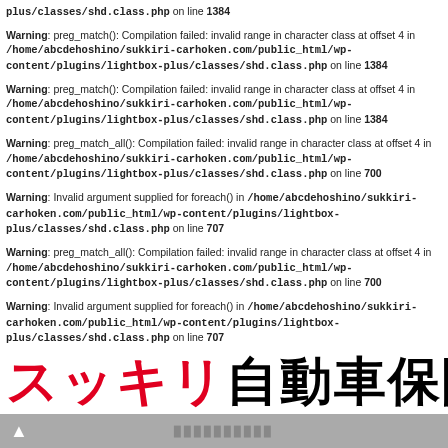plus/classes/shd.class.php on line 1384
Warning: preg_match(): Compilation failed: invalid range in character class at offset 4 in /home/abcdehoshino/sukkiri-carhoken.com/public_html/wp-content/plugins/lightbox-plus/classes/shd.class.php on line 1384
Warning: preg_match(): Compilation failed: invalid range in character class at offset 4 in /home/abcdehoshino/sukkiri-carhoken.com/public_html/wp-content/plugins/lightbox-plus/classes/shd.class.php on line 1384
Warning: preg_match_all(): Compilation failed: invalid range in character class at offset 4 in /home/abcdehoshino/sukkiri-carhoken.com/public_html/wp-content/plugins/lightbox-plus/classes/shd.class.php on line 700
Warning: Invalid argument supplied for foreach() in /home/abcdehoshino/sukkiri-carhoken.com/public_html/wp-content/plugins/lightbox-plus/classes/shd.class.php on line 707
Warning: preg_match_all(): Compilation failed: invalid range in character class at offset 4 in /home/abcdehoshino/sukkiri-carhoken.com/public_html/wp-content/plugins/lightbox-plus/classes/shd.class.php on line 700
Warning: Invalid argument supplied for foreach() in /home/abcdehoshino/sukkiri-carhoken.com/public_html/wp-content/plugins/lightbox-plus/classes/shd.class.php on line 707
スッキリ自動車保険
▲ ▉▉▉▉▉▉▉▉▉▉